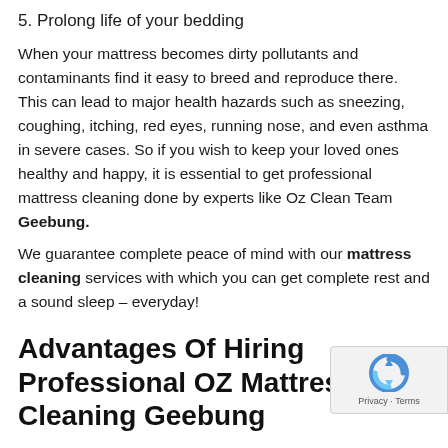5. Prolong life of your bedding
When your mattress becomes dirty pollutants and contaminants find it easy to breed and reproduce there. This can lead to major health hazards such as sneezing, coughing, itching, red eyes, running nose, and even asthma in severe cases. So if you wish to keep your loved ones healthy and happy, it is essential to get professional mattress cleaning done by experts like Oz Clean Team Geebung.
We guarantee complete peace of mind with our mattress cleaning services with which you can get complete rest and a sound sleep – everyday!
Advantages Of Hiring Professional OZ Mattress Cleaning Geebung
Mattress Cleaning Geebung, you will definitely get t…